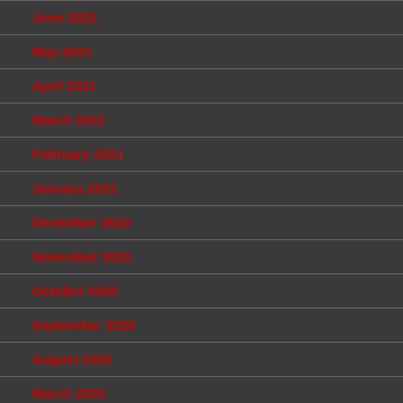June 2021
May 2021
April 2021
March 2021
February 2021
January 2021
December 2020
November 2020
October 2020
September 2020
August 2020
March 2020
February 2020